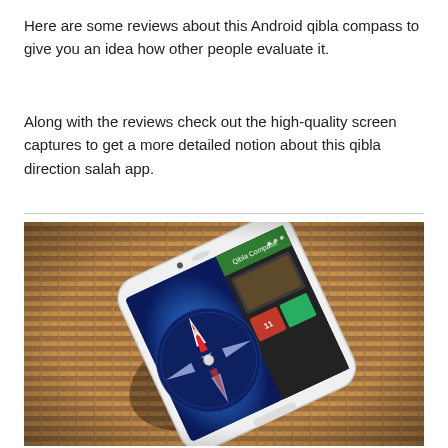Here are some reviews about this Android qibla compass to give you an idea how other people evaluate it.
Along with the reviews check out the high-quality screen captures to get a more detailed notion about this qibla direction salah app.
[Figure (photo): A white Android smartphone lying at an angle on a bamboo mat, displaying a qibla compass app with a blue compass face and red needle on the screen.]